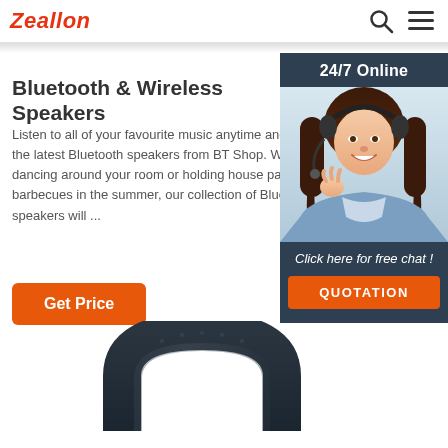Zeallon
Bluetooth & Wireless Speakers
Listen to all of your favourite music anytime and anywhere with the latest Bluetooth speakers from BT Shop. Whether you're dancing around your room or holding house parties or summer barbecues in the summer, our collection of Bluetooth speakers will ...
Get Price
[Figure (photo): Woman with headset smiling - 24/7 Online support widget with 'Click here for free chat!' and QUOTATION button]
[Figure (photo): Top portion of a dark-colored Bluetooth speaker product image]